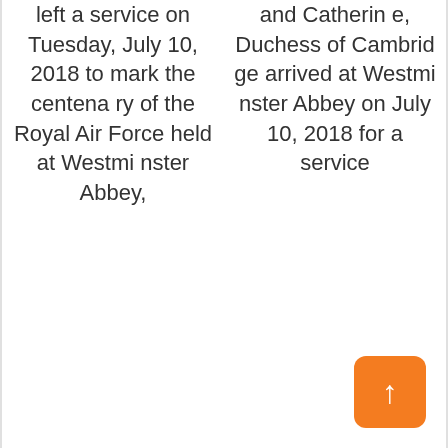left a service on Tuesday, July 10, 2018 to mark the centenary of the Royal Air Force held at Westminster Abbey,
and Catherine, Duchess of Cambridge arrived at Westminster Abbey on July 10, 2018 for a service